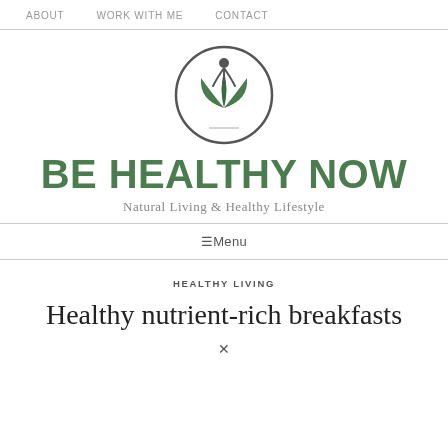ABOUT   WORK WITH ME   CONTACT
[Figure (logo): Be Healthy Now logo: circular emblem with a stylized human figure and green leaves, above the text BE HEALTHY NOW and tagline Natural Living & Healthy Lifestyle]
☰Menu
Healthy Living
Healthy nutrient-rich breakfasts